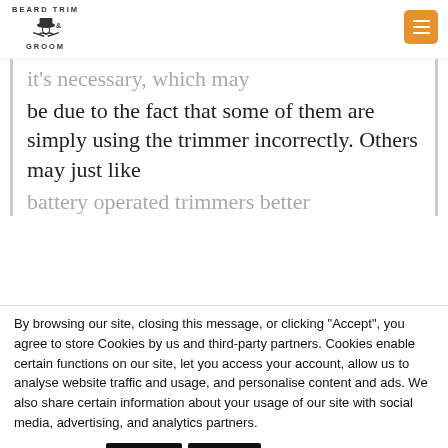BEARD TRIM & GROOM
...it's necessary, which may be due to the fact that some of them are simply using the trimmer incorrectly. Others may just like battery operated trimmers better
By browsing our site, closing this message, or clicking "Accept", you agree to store Cookies by us and third-party partners. Cookies enable certain functions on our site, let you access your account, allow us to analyse website traffic and usage, and personalise content and ads. We also share certain information about your usage of our site with social media, advertising, and analytics partners.
Accept | Reject | Read More